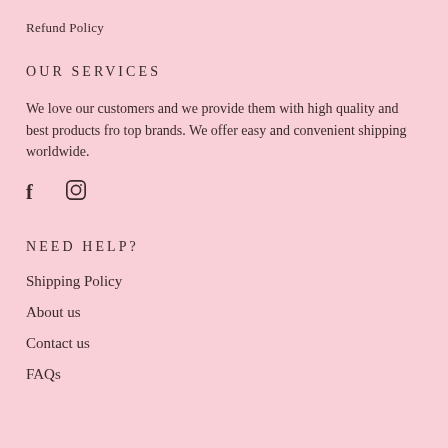Refund Policy
OUR SERVICES
We love our customers and we provide them with high quality and best products fro top brands. We offer easy and convenient shipping worldwide.
[Figure (other): Social media icons: Facebook (f) and Instagram (circle with inner circle and square)]
NEED HELP?
Shipping Policy
About us
Contact us
FAQs